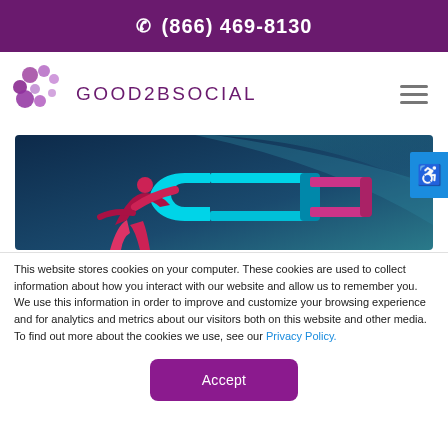(866) 469-8130
[Figure (logo): Good2BSocial logo with purple bubble circles and stylized text GOOD2BSOCIAL]
[Figure (illustration): Hero image showing a figure holding a horseshoe magnet on dark navy/teal background]
This website stores cookies on your computer. These cookies are used to collect information about how you interact with our website and allow us to remember you. We use this information in order to improve and customize your browsing experience and for analytics and metrics about our visitors both on this website and other media. To find out more about the cookies we use, see our Privacy Policy.
Accept